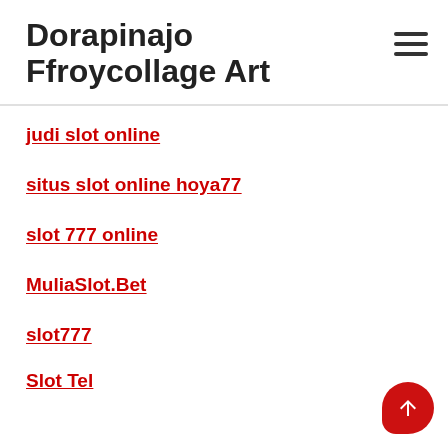Dorapinajo Ffroycollage Art
judi slot online
situs slot online hoya77
slot 777 online
MuliaSlot.Bet
slot777
Slot Tele...